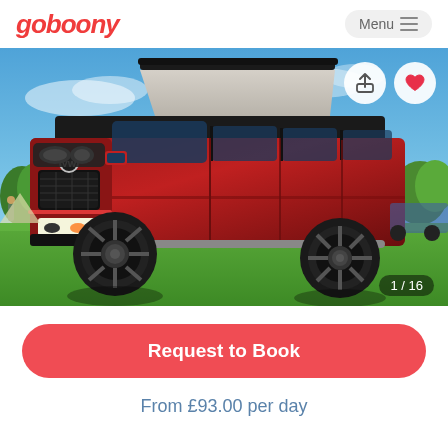[Figure (logo): goboony logo in red italic text]
Menu
[Figure (photo): Red Volkswagen campervan with pop-up roof in raised position, parked on grass under blue sky with trees in background. Black alloy wheels, VW badge on front grille.]
1 / 16
Request to Book
From £93.00 per day